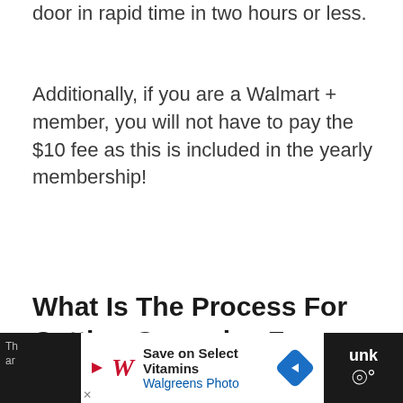door in rapid time in two hours or less.
Additionally, if you are a Walmart + member, you will not have to pay the $10 fee as this is included in the yearly membership!
What Is The Process For Getting Groceries From Walmart Delivered To Your Address?
[Figure (other): Advertisement banner for Walgreens Photo: Save on Select Vitamins, with Walgreens Photo logo and navigation arrow icon]